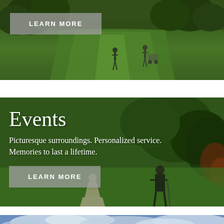[Figure (photo): Golf course photo showing golfers on a green fairway with trees in the background]
LEARN MORE
[Figure (photo): Events section with couple on a golf course; bride in white dress and man in suit holding a golf club, with green fairway background]
Events
Picturesque surroundings. Personalized service. Memories to last a lifetime.
LEARN MORE
[Figure (photo): Landscape photo showing cloudy sky over mountains or sand dunes]